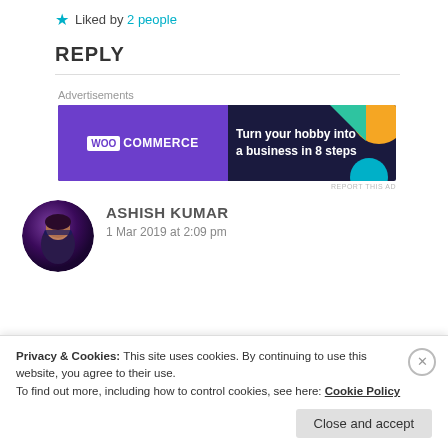★ Liked by 2 people
REPLY
Advertisements
[Figure (illustration): WooCommerce advertisement banner: purple and dark navy background with text 'Turn your hobby into a business in 8 steps', WooCommerce logo on the left, decorative shapes on the right.]
REPORT THIS AD
ASHISH KUMAR
1 Mar 2019 at 2:09 pm
Privacy & Cookies: This site uses cookies. By continuing to use this website, you agree to their use.
To find out more, including how to control cookies, see here: Cookie Policy
Close and accept